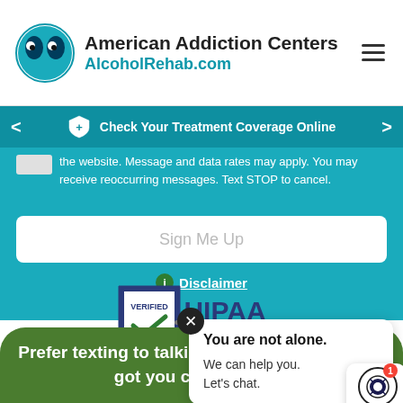[Figure (logo): American Addiction Centers logo with circular blue icon and AlcoholRehab.com URL]
American Addiction Centers AlcoholRehab.com
Check Your Treatment Coverage Online
the website. Message and data rates may apply. You may receive reoccurring messages. Text STOP to cancel.
Sign Me Up
Disclaimer
[Figure (infographic): VERIFIED HIPAA COMPLIANT badge with shield and checkmark]
You are not alone.
We can help you.
Let's chat.
Prefer texting to talking on the phone? We've got you covered 24/7.